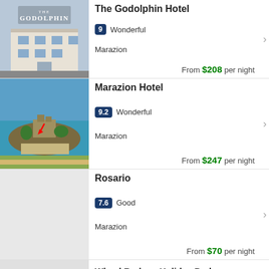[Figure (photo): The Godolphin hotel exterior photo with logo]
The Godolphin Hotel
9 Wonderful
Marazion
From $208 per night
[Figure (photo): Aerial view of St Michael's Mount, Marazion]
Marazion Hotel
9.2 Wonderful
Marazion
From $247 per night
[Figure (photo): Placeholder grey image for Rosario]
Rosario
7.6 Good
Marazion
From $70 per night
[Figure (photo): Partial placeholder image for Wheal Rodney Holiday Park]
Wheal Rodney Holiday Park